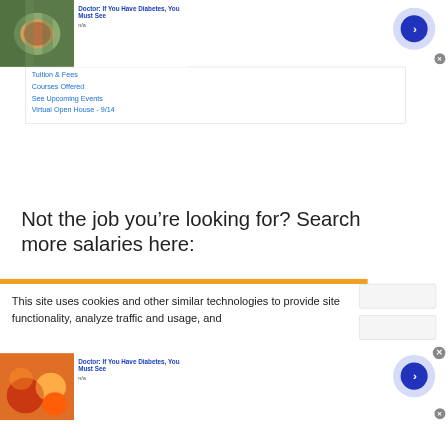[Figure (other): Advertisement banner top: photo of tea/herbs in bowl, title 'Doctor: If You Have Diabetes, You Must See', subtitle 'n/a', with blue arrow button]
Tuition & Fees
Courses Offered
See Upcoming Events
Virtual Open House - 9/14
Not the job you're looking for? Search more salaries here:
This site uses cookies and other similar technologies to provide site functionality, analyze traffic and usage, and
[Figure (other): Advertisement banner bottom: photo of colorful candies/sweets, title 'Doctor: If You Have Diabetes, You Must See', subtitle 'n/a', with blue arrow button]